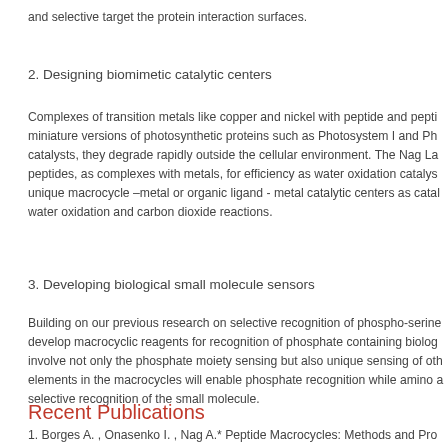and selective target the protein interaction surfaces.
2. Designing biomimetic catalytic centers
Complexes of transition metals like copper and nickel with peptide and pepti- miniature versions of photosynthetic proteins such as Photosystem I and Ph- catalysts, they degrade rapidly outside the cellular environment. The Nag La peptides, as complexes with metals, for efficiency as water oxidation catalys unique macrocycle –metal or organic ligand - metal catalytic centers as cata water oxidation and carbon dioxide reactions.
3. Developing biological small molecule sensors
Building on our previous research on selective recognition of phospho-serine develop macrocyclic reagents for recognition of phosphate containing biolog involve not only the phosphate moiety sensing but also unique sensing of oth elements in the macrocycles will enable phosphate recognition while amino a selective recognition of the small molecule.
Recent Publications
1. Borges A. , Onasenko I. , Nag A.* Peptide Macrocycles: Methods and Pro Washington DC: Springer .Forthcoming: October 11, 2021 ISBN 978-1-0716